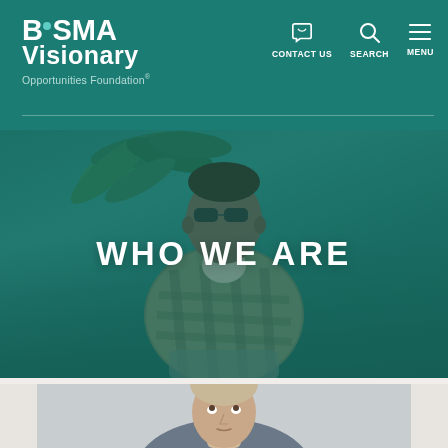BoSMA Visionary Opportunities Foundation® — CONTACT US  SEARCH  MENU
[Figure (photo): Hero image of a young Black man wearing sunglasses and a plaid shirt, seated at a table reading braille, with bookshelves and plants in the background. A teal/green color overlay is applied. Text overlay reads 'WHO WE ARE'.]
WHO WE ARE
[Figure (photo): Partial photo of a man looking upward, visible from shoulders up, against a light background.]